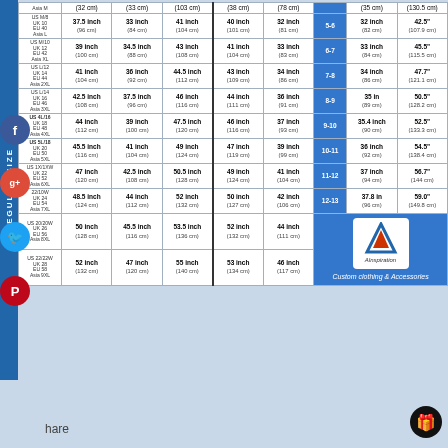| Size | Chest | Waist | Hips | Seat | Inseam | Kids Size | Height | Weight |
| --- | --- | --- | --- | --- | --- | --- | --- | --- |
| US M/8 UK 10 EU 40 Asia L | 37.5 inch (96 cm) | 33 inch (84 cm) | 41 inch (104 cm) | 40 inch (101 cm) | 32 inch (81 cm) | 5-6 | 32 inch (82 cm) | 42.5" (107.9 cm) |
| US M/10 UK 12 EU 42 Asia XL | 39 inch (100 cm) | 34.5 inch (88 cm) | 43 inch (108 cm) | 41 inch (104 cm) | 33 inch (83 cm) | 6-7 | 33 inch (84 cm) | 45.5" (115.5 cm) |
| US L/12 UK 14 EU 44 Asia 2XL | 41 inch (104 cm) | 36 inch (92 cm) | 44.5 inch (112 cm) | 43 inch (109 cm) | 34 inch (86 cm) | 7-8 | 34 inch (86 cm) | 47.7" (121.1 cm) |
| US L/14 UK 16 EU 46 Asia 3XL | 42.5 inch (108 cm) | 37.5 inch (96 cm) | 46 inch (116 cm) | 44 inch (111 cm) | 36 inch (91 cm) | 8-9 | 35 in (89 cm) | 50.5" (128.2 cm) |
| US 4L/16 UK 18 EU 48 Asia 4XL | 44 inch (112 cm) | 39 inch (100 cm) | 47.5 inch (120 cm) | 46 inch (116 cm) | 37 inch (93 cm) | 9-10 | 35.4 inch (90 cm) | 52.5" (133.3 cm) |
| US 5L/18 UK 20 EU 50 Asia 5XL | 45.5 inch (116 cm) | 41 inch (104 cm) | 49 inch (124 cm) | 47 inch (119 cm) | 39 inch (99 cm) | 10-11 | 36 inch (92 cm) | 54.5" (138.4 cm) |
| US 1X/1XW UK 22 EU 52 Asia 6XL | 47 inch (120 cm) | 42.5 inch (108 cm) | 50.5 inch (128 cm) | 49 inch (124 cm) | 41 inch (104 cm) | 11-12 | 37 inch (94 cm) | 56.7" (144 cm) |
| 22/10W UK 24 EU 54 Asia 7XL | 48.5 inch (124 cm) | 44 inch (112 cm) | 52 inch (132 cm) | 50 inch (127 cm) | 42 inch (106 cm) | 12-13 | 37.8 in (96 cm) | 59.0" (149.8 cm) |
| US 20/20W UK 26 EU 56 Asia 8XL | 50 inch (128 cm) | 45.5 inch (116 cm) | 53.5 inch (136 cm) | 52 inch (132 cm) | 44 inch (111 cm) |  |  |  |
| US 22/22W UK 28 EU 58 Asia 9XL | 52 inch (132 cm) | 47 inch (120 cm) | 55 inch (140 cm) | 53 inch (134 cm) | 46 inch (117 cm) |  |  |  |
Share